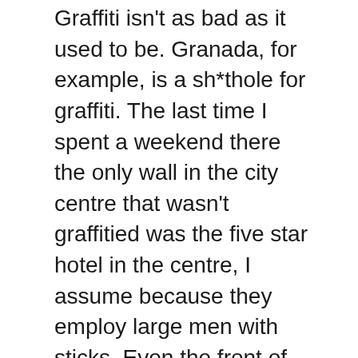Graffiti isn't as bad as it used to be. Granada, for example, is a sh*thole for graffiti. The last time I spent a weekend there the only wall in the city centre that wasn't graffitied was the five star hotel in the centre, I assume because they employ large men with sticks. Even the front of the Policia Nacional station was covered in it. Round here, you only see a little bit. Quite a change from before. I'm assured that this is because it's cleared off the next morning, and heavy fines handed out to anyone caught. Granada, take note.
The centre of town has a pleasant scheme going on called "Almeria city centre shopping centre". Basically, all the shops in the city centre have signed up together and promote each others shops, unify the outside of their shops, general marketing and have lists of other shops so you can ask about products and get